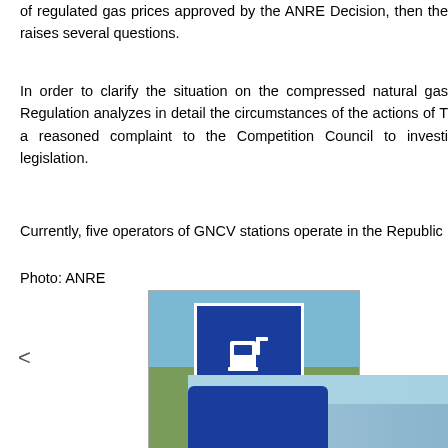of regulated gas prices approved by the ANRE Decision, then the raises several questions.
In order to clarify the situation on the compressed natural gas Regulation analyzes in detail the circumstances of the actions of T a reasoned complaint to the Competition Council to investi legislation.
Currently, five operators of GNCV stations operate in the Republic
Photo: ANRE
[Figure (photo): A road sign with blue background showing a fuel pump icon and the word METAN with a right-pointing arrow, indicating a compressed natural gas (methane) station nearby.]
[Figure (photo): Partial view of another road sign or banner with blue color, sky and tree background visible.]